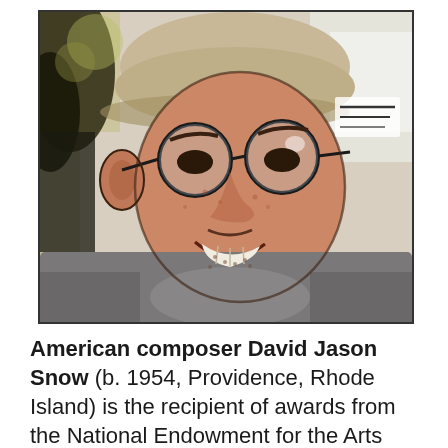[Figure (photo): Posterized/illustrated photo of David Jason Snow, a middle-aged man smiling, wearing glasses and a baseball cap, in a gray shirt. The image has a comic-book or high-contrast illustrated style.]
American composer David Jason Snow (b. 1954, Providence, Rhode Island) is the recipient of awards from the National Endowment for the Arts